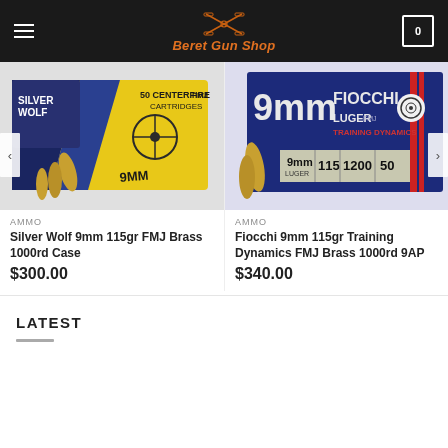Beret Gun Shop
[Figure (photo): Silver Wolf 9mm 115gr FMJ Brass 1000rd Case ammunition box with bullets]
AMMO
Silver Wolf 9mm 115gr FMJ Brass 1000rd Case
$300.00
[Figure (photo): Fiocchi 9mm Luger FMJ Training Dynamics Brass 1000rd 9AP ammunition box with bullet]
AMMO
Fiocchi 9mm 115gr Training Dynamics FMJ Brass 1000rd 9AP
$340.00
LATEST